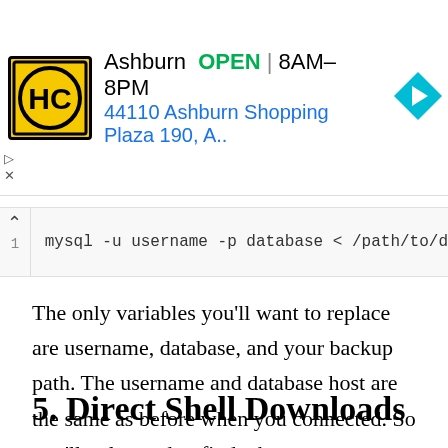[Figure (other): Advertisement banner for Haircut location in Ashburn, showing HC logo, store status OPEN 8AM-8PM, and address 44110 Ashburn Shopping Plaza 190, A.. with a navigation arrow icon]
mysql -u username -p database < /path/to/d
The only variables you’ll want to replace are username, database, and your backup path. The username and database host are the same as before when you connected. So you’ll only need to find where your database backup is stored so you can update it.
5. Direct Shell Downloads